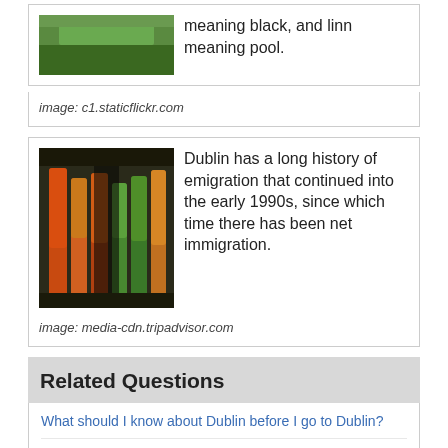[Figure (photo): Outdoor green landscape with grass and path]
meaning black, and linn meaning pool.
image: c1.staticflickr.com
[Figure (photo): Indoor corridor with colorful cylindrical displays]
Dublin has a long history of emigration that continued into the early 1990s, since which time there has been net immigration.
image: media-cdn.tripadvisor.com
Related Questions
What should I know about Dublin before I go to Dublin?
Where is dublin california?
What is the weather like in Dublin, Ireland in April?
What restaurants in Dublin, CA are good for kids?
What is it like to move to Dublin (Ireland)?